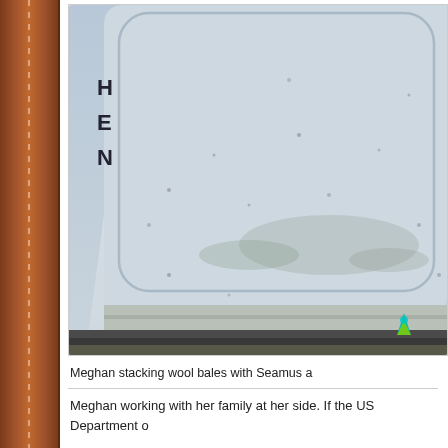[Figure (photo): Close-up photograph of a large white wool bale or container, viewed from an angle showing its rounded corner and dirty/dusty surface. The object sits on what appears to be a metal platform or trailer. A small colorful logo or marker is visible in the lower right corner of the image.]
Meghan stacking wool bales with Seamus a
Meghan working with her family at her side.  If the US Department o